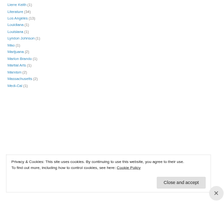Lierre Keith (1)
Literature (34)
Los Angeles (13)
Louidiana (1)
Louisiana (1)
Lyndon Johnson (1)
Mao (1)
Marijuana (2)
Marlon Brando (1)
Martial Arts (1)
Marxism (2)
Massachusetts (2)
Medi-Cal (1)
Privacy & Cookies: This site uses cookies. By continuing to use this website, you agree to their use. To find out more, including how to control cookies, see here: Cookie Policy
Close and accept